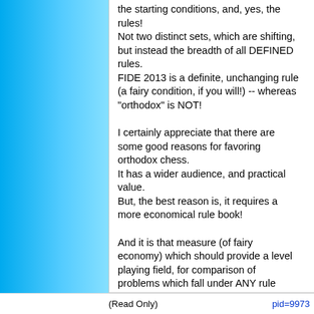the starting conditions, and, yes, the rules!
Not two distinct sets, which are shifting, but instead the breadth of all DEFINED rules.
FIDE 2013 is a definite, unchanging rule (a fairy condition, if you will!) -- whereas "orthodox" is NOT!

I certainly appreciate that there are some good reasons for favoring orthodox chess.
It has a wider audience, and practical value.
But, the best reason is, it requires a more economical rule book!

And it is that measure (of fairy economy) which should provide a level playing field, for comparison of problems which fall under ANY rule book.
(Read Only)    pid=9973